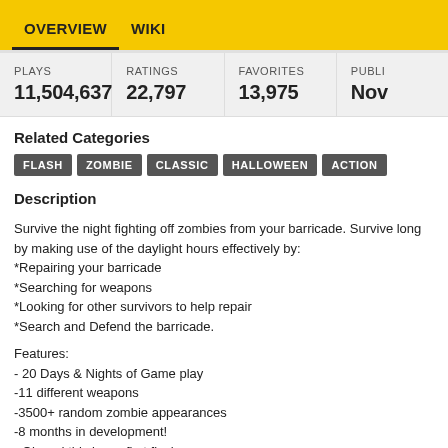OVERVIEW  WIKI
| PLAYS | RATINGS | FAVORITES | PUBLI... |
| --- | --- | --- | --- |
| 11,504,637 | 22,797 | 13,975 | Nov... |
Related Categories
FLASH  ZOMBIE  CLASSIC  HALLOWEEN  ACTION
Description
Survive the night fighting off zombies from your barricade. Survive long by making use of the daylight hours effectively by:
*Repairing your barricade
*Searching for weapons
*Looking for other survivors to help repair
*Search and Defend the barricade.

Features:
- 20 Days & Nights of Game play
-11 different weapons
-3500+ random zombie appearances
-8 months in development!
- Oh and this is my first flash game…